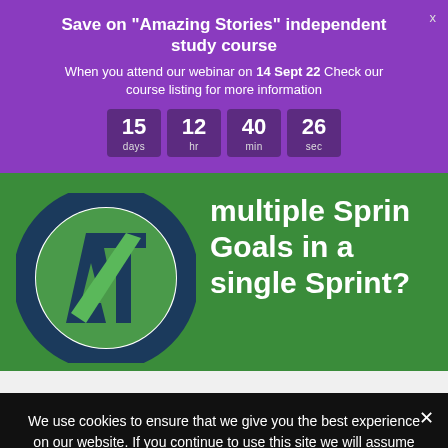Save on "Amazing Stories" independent study course
When you attend our webinar on 14 Sept 22 Check our course listing for more information
[Figure (infographic): Countdown timer showing 15 days, 12 hr, 40 min, 26 sec in purple boxes]
[Figure (screenshot): Green background with circular logo (dark blue and green A/T monogram) and white text reading 'multiple Sprint Goals in a single Sprint?']
We use cookies to ensure that we give you the best experience on our website. If you continue to use this site we will assume that you are okay with it.
Ok  Privacy Policy